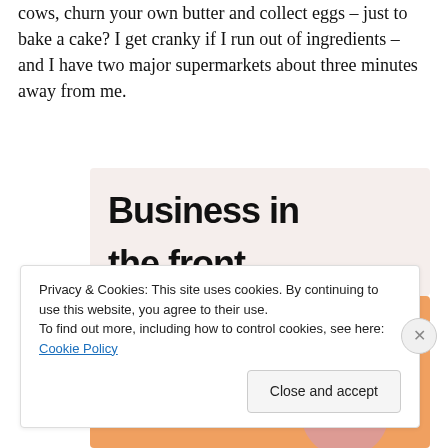cows, churn your own butter and collect eggs – just to bake a cake? I get cranky if I run out of ingredients – and I have two major supermarkets about three minutes away from me.
[Figure (illustration): Advertisement image showing 'Business in the front...' text on a light background and 'WordPress in the back.' text on an orange/peach gradient background with decorative circles]
Privacy & Cookies: This site uses cookies. By continuing to use this website, you agree to their use.
To find out more, including how to control cookies, see here: Cookie Policy